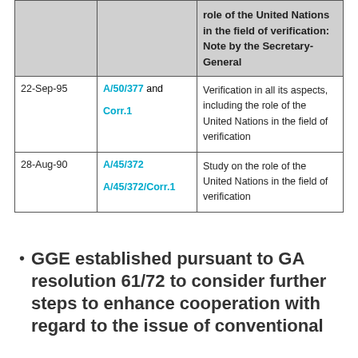|  |  | role of the United Nations in the field of verification: Note by the Secretary-General |
| --- | --- | --- |
| 22-Sep-95 | A/50/377 and Corr.1 | Verification in all its aspects, including the role of the United Nations in the field of verification |
| 28-Aug-90 | A/45/372
A/45/372/Corr.1 | Study on the role of the United Nations in the field of verification |
GGE established pursuant to GA resolution 61/72 to consider further steps to enhance cooperation with regard to the issue of conventional